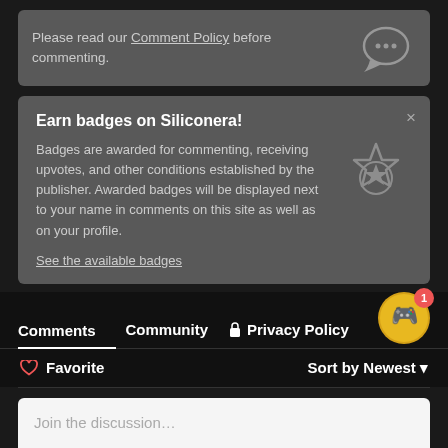Please read our Comment Policy before commenting.
Earn badges on Siliconera!
Badges are awarded for commenting, receiving upvotes, and other conditions established by the publisher. Awarded badges will be displayed next to your name in comments on this site as well as on your profile.
See the available badges
Comments	Community	Privacy Policy
Favorite
Sort by Newest
Join the discussion…